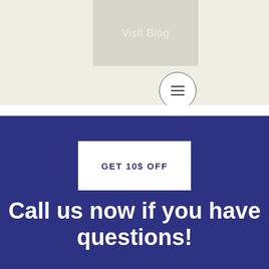[Figure (screenshot): Visit Blog button on a beige/cream background]
[Figure (other): Hamburger menu icon inside a circle]
GET 10$ OFF
Call us now if you have questions!